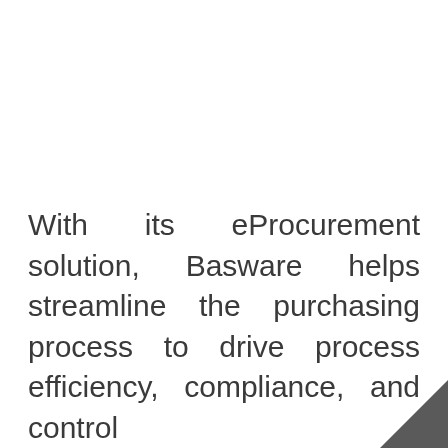With its eProcurement solution, Basware helps streamline the purchasing process to drive process efficiency, compliance, and control